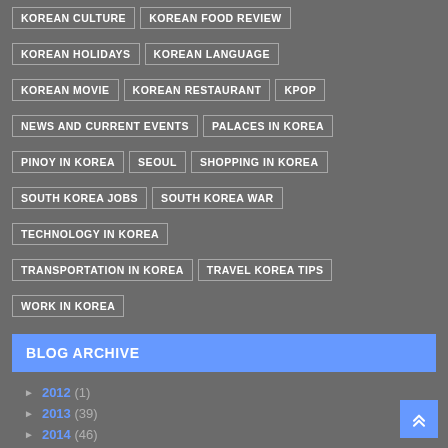KOREAN CULTURE
KOREAN FOOD REVIEW
KOREAN HOLIDAYS
KOREAN LANGUAGE
KOREAN MOVIE
KOREAN RESTAURANT
KPOP
NEWS AND CURRENT EVENTS
PALACES IN KOREA
PINOY IN KOREA
SEOUL
SHOPPING IN KOREA
SOUTH KOREA JOBS
SOUTH KOREA WAR
TECHNOLOGY IN KOREA
TRANSPORTATION IN KOREA
TRAVEL KOREA TIPS
WORK IN KOREA
BLOG ARCHIVE
2012 (1)
2013 (39)
2014 (46)
2015 (46)
2016 (72)